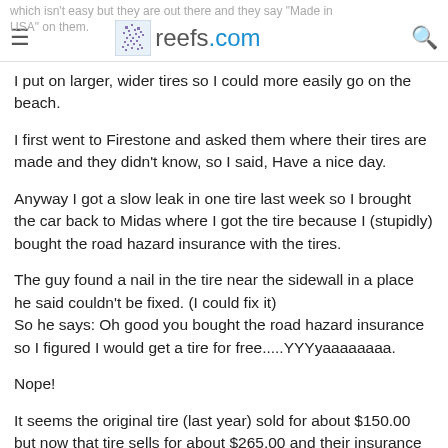which isn't easy but they are out there and they say "Made in USA" on them. reefs.com
I put on larger, wider tires so I could more easily go on the beach.
I first went to Firestone and asked them where their tires are made and they didn't know, so I said, Have a nice day.
Anyway I got a slow leak in one tire last week so I brought the car back to Midas where I got the tire because I (stupidly) bought the road hazard insurance with the tires.
The guy found a nail in the tire near the sidewall in a place he said couldn't be fixed. (I could fix it)
So he says: Oh good you bought the road hazard insurance so I figured I would get a tire for free.....YYYyaaaaaaaa.
Nope!
It seems the original tire (last year) sold for about $150.00 but now that tire sells for about $265.00 and their insurance only covers...